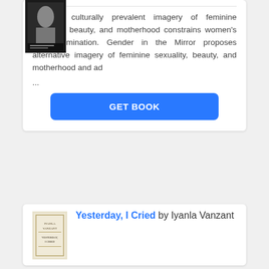[Figure (photo): Book cover thumbnail (dark cover) in top left area]
Harmful, culturally prevalent imagery of feminine sexuality, beauty, and motherhood constrains women's self-determination. Gender in the Mirror proposes alternative imagery of feminine sexuality, beauty, and motherhood and ad ...
GET BOOK
[Figure (photo): Book cover thumbnail for 'Yesterday, I Cried' by Iyanla Vanzant — light colored cover with decorative border]
Yesterday, I Cried by Iyanla Vanzant